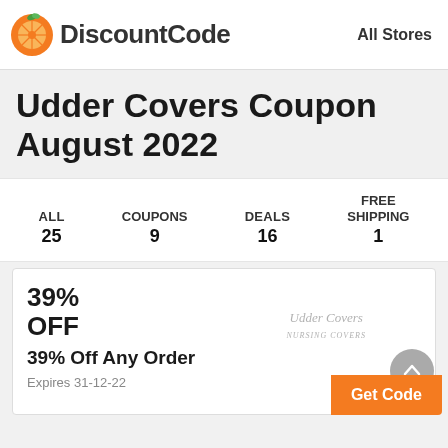DiscountCode   All Stores
Udder Covers Coupon August 2022
| ALL 25 | COUPONS 9 | DEALS 16 | FREE SHIPPING 1 |
| --- | --- | --- | --- |
39% OFF
39% Off Any Order
Expires 31-12-22
Get Code